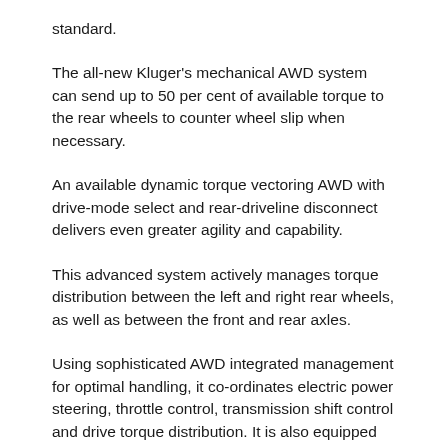standard.
The all-new Kluger's mechanical AWD system can send up to 50 per cent of available torque to the rear wheels to counter wheel slip when necessary.
An available dynamic torque vectoring AWD with drive-mode select and rear-driveline disconnect delivers even greater agility and capability.
This advanced system actively manages torque distribution between the left and right rear wheels, as well as between the front and rear axles.
Using sophisticated AWD integrated management for optimal handling, it co-ordinates electric power steering, throttle control, transmission shift control and drive torque distribution. It is also equipped with a multi-terrain select control dial that offers maximum traction over mud, sand